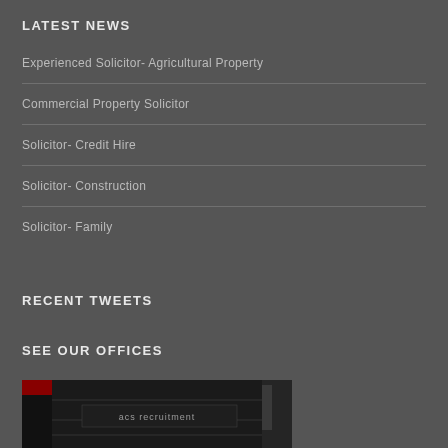LATEST NEWS
Experienced Solicitor- Agricultural Property
Commercial Property Solicitor
Solicitor- Credit Hire
Solicitor- Construction
Solicitor- Family
RECENT TWEETS
SEE OUR OFFICES
[Figure (photo): Photo of acs recruitment office exterior signage]